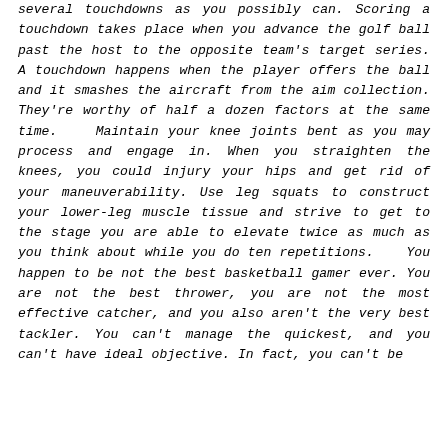several touchdowns as you possibly can. Scoring a touchdown takes place when you advance the golf ball past the host to the opposite team's target series. A touchdown happens when the player offers the ball and it smashes the aircraft from the aim collection. They're worthy of half a dozen factors at the same time.    Maintain your knee joints bent as you may process and engage in. When you straighten the knees, you could injury your hips and get rid of your maneuverability. Use leg squats to construct your lower-leg muscle tissue and strive to get to the stage you are able to elevate twice as much as you think about while you do ten repetitions.    You happen to be not the best basketball gamer ever. You are not the best thrower, you are not the most effective catcher, and you also aren't the very best tackler. You can't manage the quickest, and you can't have ideal objective. In fact, you can't be